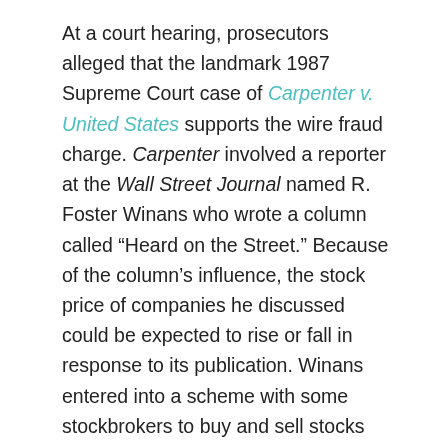At a court hearing, prosecutors alleged that the landmark 1987 Supreme Court case of Carpenter v. United States supports the wire fraud charge. Carpenter involved a reporter at the Wall Street Journal named R. Foster Winans who wrote a column called “Heard on the Street.” Because of the column’s influence, the stock price of companies he discussed could be expected to rise or fall in response to its publication. Winans entered into a scheme with some stockbrokers to buy and sell stocks before the column was published, using his advance knowledge of the column’s contents. They then profited from changes in the stock prices after the column was published.
Unlike Chastain, Winans actually was prosecuted for insider trading under the misappropriation theory, with the government alleging he had misappropriated the